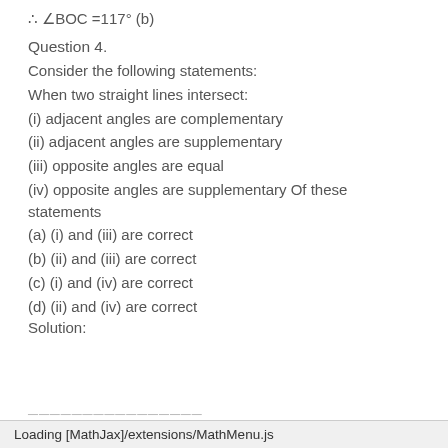∴ ∠BOC = 117° (b)
Question 4.
Consider the following statements:
When two straight lines intersect:
(i) adjacent angles are complementary
(ii) adjacent angles are supplementary
(iii) opposite angles are equal
(iv) opposite angles are supplementary Of these statements
(a) (i) and (iii) are correct
(b) (ii) and (iii) are correct
(c) (i) and (iv) are correct
(d) (ii) and (iv) are correct
Solution:
Loading [MathJax]/extensions/MathMenu.js